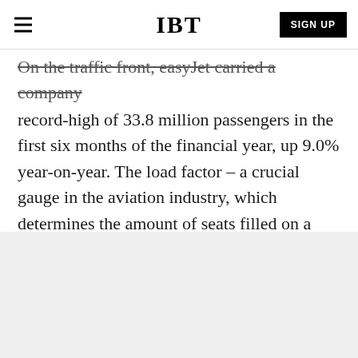IBT | SIGN UP
On the traffic front, easyJet carried a company record-high of 33.8 million passengers in the first six months of the financial year, up 9.0% year-on-year. The load factor – a crucial gauge in the aviation industry, which determines the amount of seats filled on a plane –also climbed to a record level, rising to 90.2% from 89.7%.